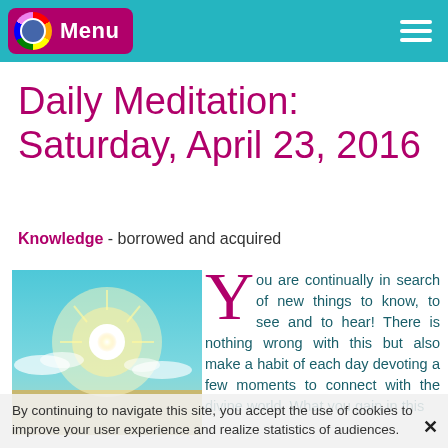Menu
Daily Meditation: Saturday, April 23, 2016
Knowledge - borrowed and acquired
[Figure (photo): Bright sunburst over a landscape with blue sky and clouds]
You are continually in search of new things to know, to see and to hear! There is nothing wrong with this but also make a habit of each day devoting a few moments to connect with the divine world. What you gain in this
By continuing to navigate this site, you accept the use of cookies to improve your user experience and realize statistics of audiences.